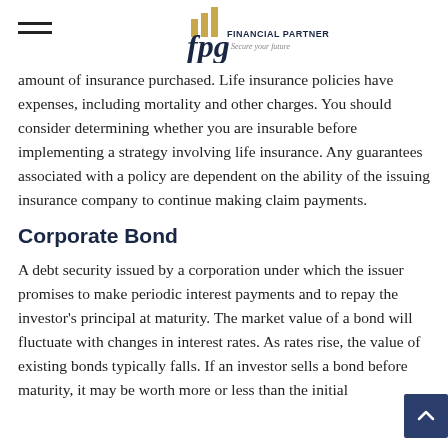FPG Financial Partners Group — Secure your future
amount of insurance purchased. Life insurance policies have expenses, including mortality and other charges. You should consider determining whether you are insurable before implementing a strategy involving life insurance. Any guarantees associated with a policy are dependent on the ability of the issuing insurance company to continue making claim payments.
Corporate Bond
A debt security issued by a corporation under which the issuer promises to make periodic interest payments and to repay the investor's principal at maturity. The market value of a bond will fluctuate with changes in interest rates. As rates rise, the value of existing bonds typically falls. If an investor sells a bond before maturity, it may be worth more or less than the initial